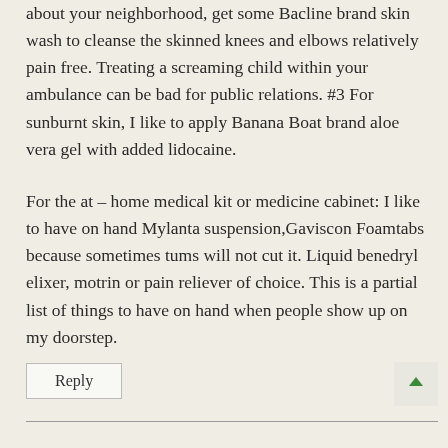about your neighborhood, get some Bacline brand skin wash to cleanse the skinned knees and elbows relatively pain free. Treating a screaming child within your ambulance can be bad for public relations. #3 For sunburnt skin, I like to apply Banana Boat brand aloe vera gel with added lidocaine.
For the at – home medical kit or medicine cabinet: I like to have on hand Mylanta suspension,Gaviscon Foamtabs because sometimes tums will not cut it. Liquid benedryl elixer, motrin or pain reliever of choice. This is a partial list of things to have on hand when people show up on my doorstep.